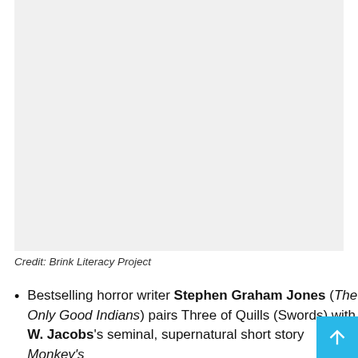[Figure (photo): Light gray rectangular image placeholder, presumably a book cover or illustration related to the Brink Literacy Project.]
Credit: Brink Literacy Project
Bestselling horror writer Stephen Graham Jones (The Only Good Indians) pairs Three of Quills (Swords) with W. Jacobs's seminal, supernatural short story Monkey's